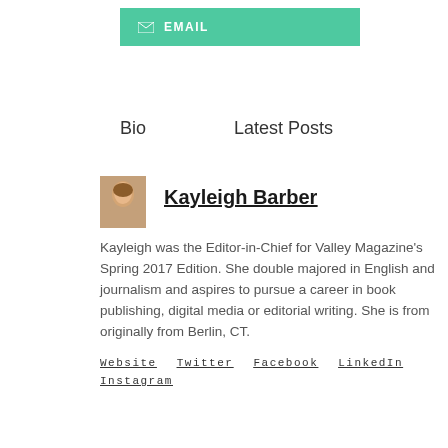EMAIL
Bio    Latest Posts
Kayleigh Barber
Kayleigh was the Editor-in-Chief for Valley Magazine's Spring 2017 Edition. She double majored in English and journalism and aspires to pursue a career in book publishing, digital media or editorial writing. She is from originally from Berlin, CT.
Website
Twitter
Facebook
LinkedIn
Instagram